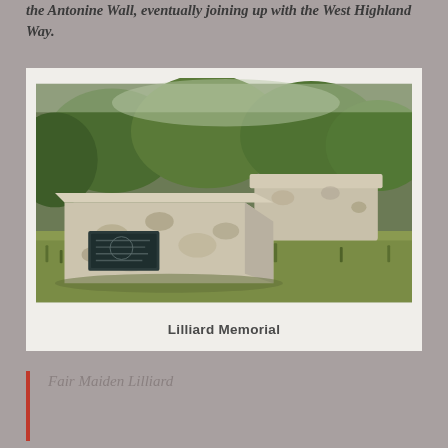the Antonine Wall, eventually joining up with the West Highland Way.
[Figure (photo): Stone memorial monument with weathered white/grey stone, a dark plaque on the front, surrounded by green grass and trees. Two box-shaped stone structures visible.]
Lilliard Memorial
Fair Maiden Lilliard